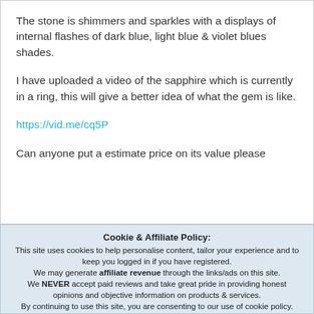The stone is shimmers and sparkles with a displays of internal flashes of dark blue, light blue & violet blues shades.
I have uploaded a video of the sapphire which is currently in a ring, this will give a better idea of what the gem is like.
https://vid.me/cq5P
Can anyone put a estimate price on its value please
Cookie & Affiliate Policy: This site uses cookies to help personalise content, tailor your experience and to keep you logged in if you have registered. We may generate affiliate revenue through the links/ads on this site. We NEVER accept paid reviews and take great pride in providing honest opinions and objective information on products & services. By continuing to use this site, you are consenting to our use of cookie policy.